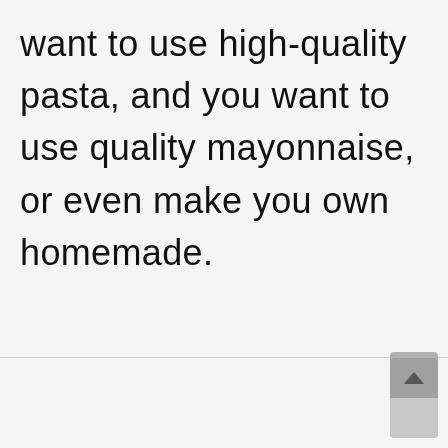want to use high-quality pasta, and you want to use quality mayonnaise, or even make you own homemade.